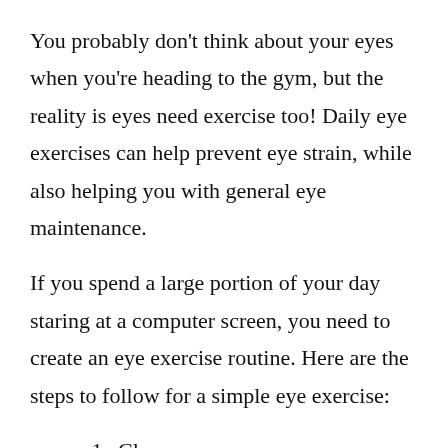You probably don't think about your eyes when you're heading to the gym, but the reality is eyes need exercise too! Daily eye exercises can help prevent eye strain, while also helping you with general eye maintenance.
If you spend a large portion of your day staring at a computer screen, you need to create an eye exercise routine. Here are the steps to follow for a simple eye exercise:
1. Close your eyes
2. Move your eyes up
3. Move your eyes down
4. Repeat 3 times
5. Move your eyes left